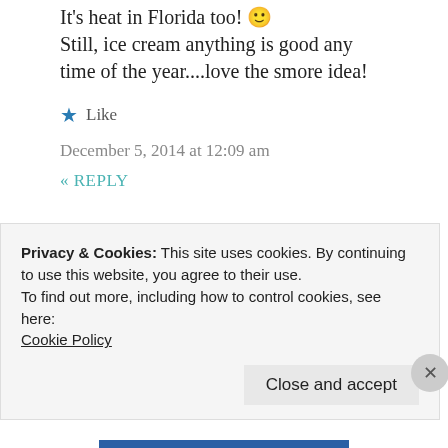It's heat in Florida too! 🙂 Still, ice cream anything is good any time of the year....love the smore idea!
★ Like
December 5, 2014 at 12:09 am
« REPLY
[Figure (illustration): Circular avatar icon with gold/brown geometric diamond pattern on white background, surrounded by a green circle border]
Next Stop: Food says:
Privacy & Cookies: This site uses cookies. By continuing to use this website, you agree to their use.
To find out more, including how to control cookies, see here:
Cookie Policy

Close and accept